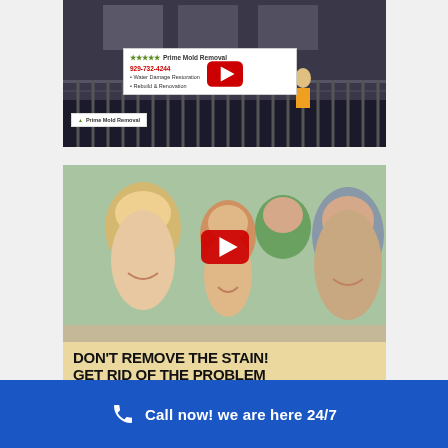[Figure (screenshot): YouTube video thumbnail showing a construction/building scene with Prime Mold Removal signage, play button overlay, and Prime Mold Removal logo badge in bottom left]
[Figure (screenshot): YouTube video thumbnail showing a smiling family (woman, two children, man) with a red YouTube play button and bold text overlay reading 'DON'T REMOVE THE STAIN! GET RID OF THE PROBLEM']
Call now! we are here 24/7